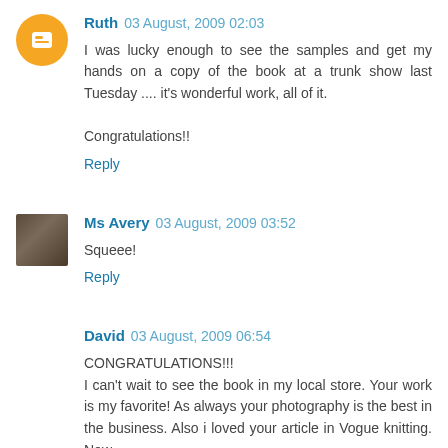Ruth 03 August, 2009 02:03
I was lucky enough to see the samples and get my hands on a copy of the book at a trunk show last Tuesday .... it's wonderful work, all of it.

Congratulations!!
Reply
Ms Avery 03 August, 2009 03:52
Squeee!
Reply
David 03 August, 2009 06:54
CONGRATULATIONS!!!
I can't wait to see the book in my local store. Your work is my favorite! As always your photography is the best in the business. Also i loved your article in Vogue knitting. Now